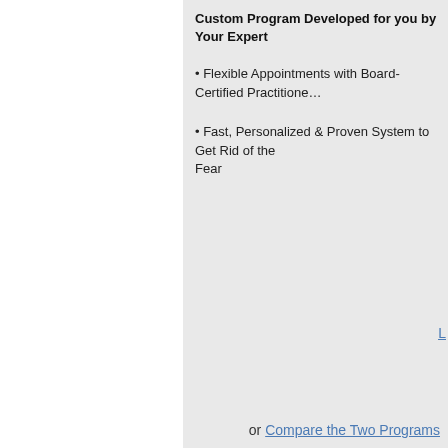Custom Program Developed for you by Your Expert
Flexible Appointments with Board-Certified Practitioners
Fast, Personalized & Proven System to Get Rid of the Fear
or Compare the Two Programs
How This System Works
You've got to 're-wire' your unconscious mind – and with our help, it's easier than you may think. You know that Phobia Of Words isn't working for you. The reason the fear continues is because the subconscious has connected it with strong dominant negative feelings which occur automatically when you encounter words.
Getting rid of those automatic feelings isn't hard – you just need